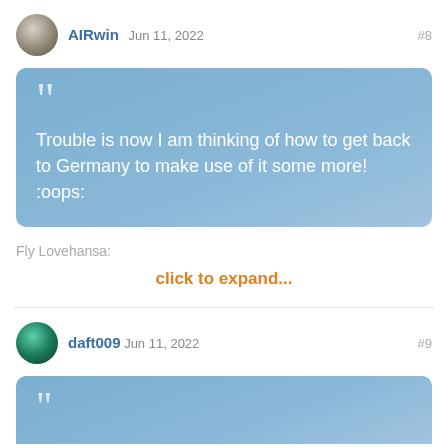AIRwin Jun 11, 2022 #8
Trouble is now I am thinking of how to get back to Germany to make use of it some more! :oops:
Fly Lovehansa:
click to expand...
daft009 Jun 11, 2022 #9